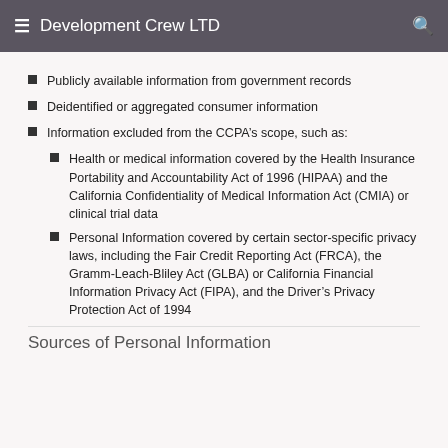Development Crew LTD
Publicly available information from government records
Deidentified or aggregated consumer information
Information excluded from the CCPA’s scope, such as:
Health or medical information covered by the Health Insurance Portability and Accountability Act of 1996 (HIPAA) and the California Confidentiality of Medical Information Act (CMIA) or clinical trial data
Personal Information covered by certain sector-specific privacy laws, including the Fair Credit Reporting Act (FRCA), the Gramm-Leach-Bliley Act (GLBA) or California Financial Information Privacy Act (FIPA), and the Driver’s Privacy Protection Act of 1994
Sources of Personal Information